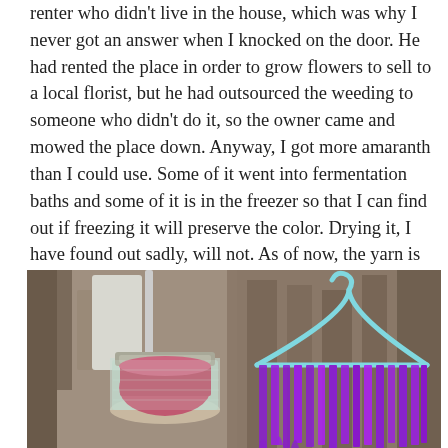renter who didn't live in the house, which was why I never got an answer when I knocked on the door. He had rented the place in order to grow flowers to sell to a local florist, but he had outsourced the weeding to someone who didn't do it, so the owner came and mowed the place down. Anyway, I got more amaranth than I could use. Some of it went into fermentation baths and some of it is in the freezer so that I can find out if freezing it will preserve the color. Drying it, I have found out sadly, will not. As of now, the yarn is sitting in the dye bath and turning a raspberry pink.
[Figure (photo): Photograph showing a mason jar with pinkish-red contents and a straw on the left, and a light blue clothes hanger with bright purple/violet yarn hanging from it on the right, with wooden furniture visible in the background outdoors.]